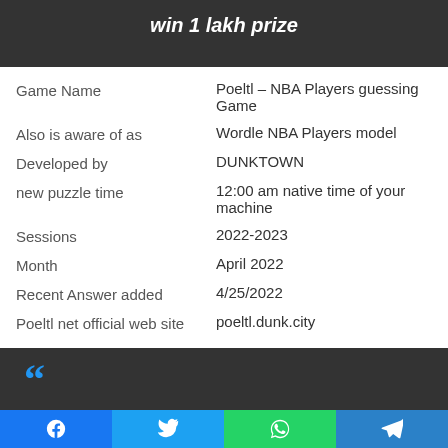win 1 lakh prize
| Field | Value |
| --- | --- |
| Game Name | Poeltl – NBA Players guessing Game |
| Also is aware of as | Wordle NBA Players model |
| Developed by | DUNKTOWN |
| new puzzle time | 12:00 am native time of your machine |
| Sessions | 2022-2023 |
| Month | April 2022 |
| Recent Answer added | 4/25/2022 |
| Poeltl net official web site | poeltl.dunk.city |
[Figure (other): Dark section with large blue quotation mark]
[Figure (other): Social share bar with Facebook, Twitter, WhatsApp, and Telegram icons]